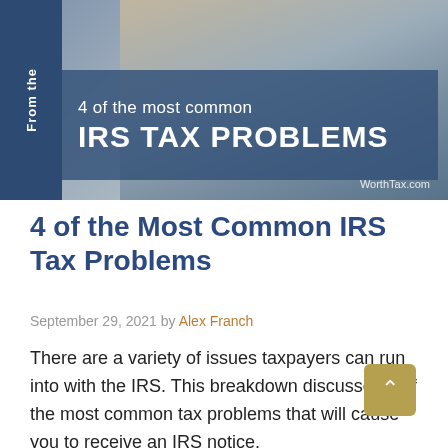[Figure (photo): Banner image showing a couple looking stressed, with a dark blue overlay panel containing the text '4 of the most common IRS TAX PROBLEMS' and 'WorthTax.com'. A vertical dark blue sidebar on the left reads 'From the'.]
4 of the Most Common IRS Tax Problems
September 29, 2021 by Alex Franch
There are a variety of issues taxpayers can run into with the IRS. This breakdown discusses 4 of the most common tax problems that will cause you to receive an IRS notice.